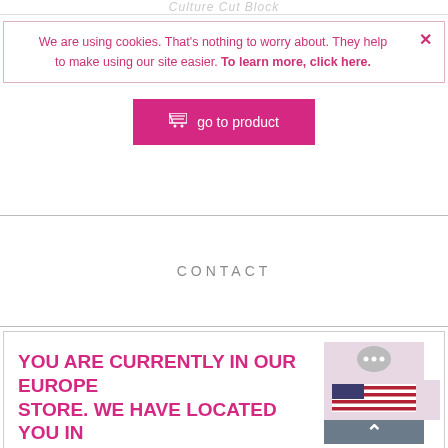Culture Cut Block
We are using cookies. That's nothing to worry about. They help to make using our site easier. To learn more, click here.
go to product
CONTACT
YOU ARE CURRENTLY IN OUR EUROPE STORE. WE HAVE LOCATED YOU IN
To deliver to your country please switch to our US Store